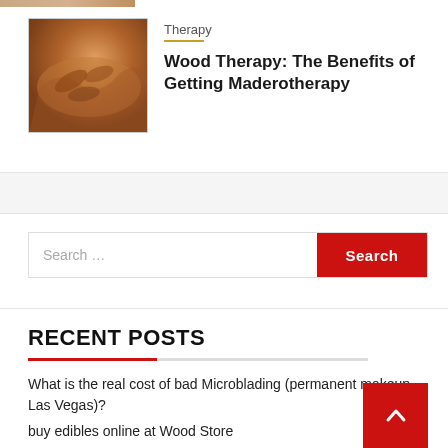[Figure (photo): Partial view of a massage therapy image at the top (cropped)]
Therapy
Wood Therapy: The Benefits of Getting Maderotherapy
[Figure (photo): Photo of wood therapy massage tools being applied to a person's back]
Search ...
RECENT POSTS
What is the real cost of bad Microblading (permanent makeup Las Vegas)?
buy edibles online at Wood Store